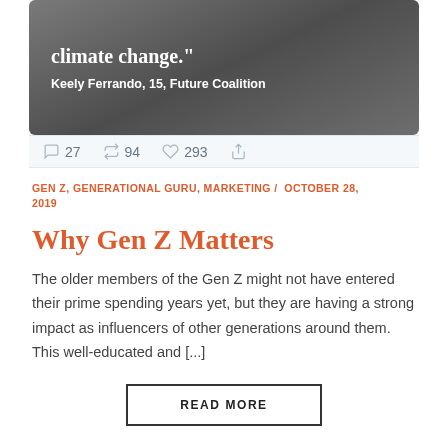[Figure (screenshot): Tweet screenshot showing a black-and-white photo of hands holding a phone, with a quote about climate change attributed to Keely Ferrando, 15, Future Coalition]
27  94  293 (tweet engagement metrics: comments, retweets, likes)
GEN Z, GENERATIONAL GURU, MARKETING / OCTOBER 28, 2019
Why Gen Z Matters
The older members of the Gen Z might not have entered their prime spending years yet, but they are having a strong impact as influencers of other generations around them. This well-educated and [...]
READ MORE